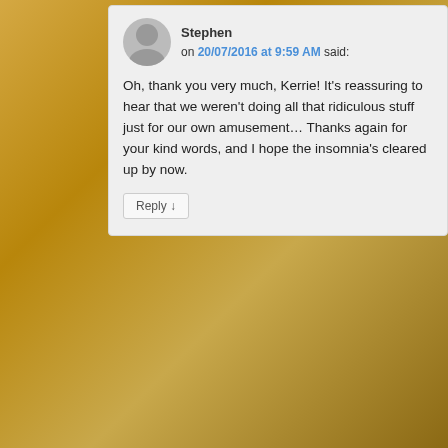Stephen on 20/07/2016 at 9:59 AM said: Oh, thank you very much, Kerrie! It's reassuring to hear that we weren't doing all that ridiculous stuff just for our own amusement… Thanks again for your kind words, and I hope the insomnia's cleared up by now.
Lored Elvis the Destroyer on 01/04/2017 at 3:14 AM said: